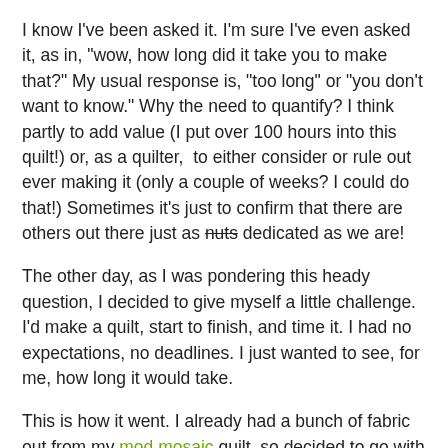I know I've been asked it. I'm sure I've even asked it, as in, "wow, how long did it take you to make that?" My usual response is, "too long" or "you don't want to know." Why the need to quantify? I think partly to add value (I put over 100 hours into this quilt!) or, as a quilter,  to either consider or rule out ever making it (only a couple of weeks? I could do that!) Sometimes it's just to confirm that there are others out there just as nuts dedicated as we are!
The other day, as I was pondering this heady question, I decided to give myself a little challenge. I'd make a quilt, start to finish, and time it. I had no expectations, no deadlines. I just wanted to see, for me, how long it would take.
This is how it went. I already had a bunch of fabric out from my mod mosaic quilt, so decided to go with that. And I recently saw this pattern that I wanted to try. Big pieces, simple piecing. Let the fabric do the talking.
1 PM - 2 PM  Fabric cut and laid out: